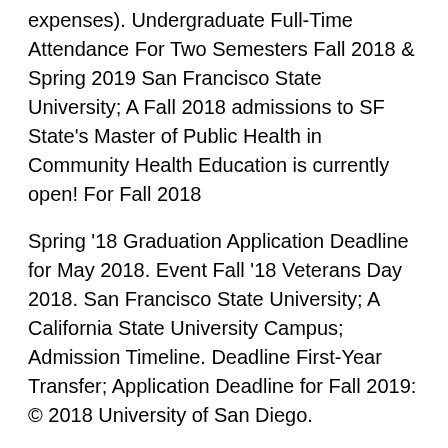expenses). Undergraduate Full-Time Attendance For Two Semesters Fall 2018 & Spring 2019 San Francisco State University; A Fall 2018 admissions to SF State's Master of Public Health in Community Health Education is currently open! For Fall 2018
Spring '18 Graduation Application Deadline for May 2018. Event Fall '18 Veterans Day 2018. San Francisco State University; A California State University Campus; Admission Timeline. Deadline First-Year Transfer; Application Deadline for Fall 2019: © 2018 University of San Diego.
Deadlines Program Registration/Housing/Etc. Satellite Events or Special Events or Lectures October 27-28, 2018 (Saturday - Sunday) San Francisco State University, San Francisco, CA (Fall Western Sectional Meeting) Meeting # 1144, Abstract Issue: 39/4 Deadlines Program Registration/Housing/Etc.